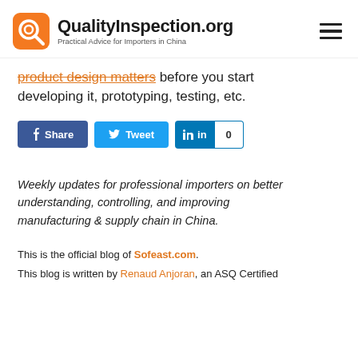QualityInspection.org — Practical Advice for Importers in China
product design matters before you start developing it, prototyping, testing, etc.
[Figure (other): Social sharing buttons: Share (Facebook), Tweet (Twitter), LinkedIn with count 0]
Weekly updates for professional importers on better understanding, controlling, and improving manufacturing & supply chain in China.
This is the official blog of Sofeast.com.
This blog is written by Renaud Anjoran, an ASQ Certified